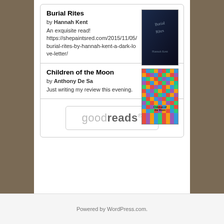Burial Rites by Hannah Kent. An exquisite read! https://shepaintsred.com/2015/11/05/burial-rites-by-hannah-kent-a-dark-love-letter/
Children of the Moon by Anthony De Sa. Just writing my review this evening.
[Figure (logo): Goodreads logo button with rounded rectangle border]
THINGS TO CONSIDER
Select Category
Powered by WordPress.com.